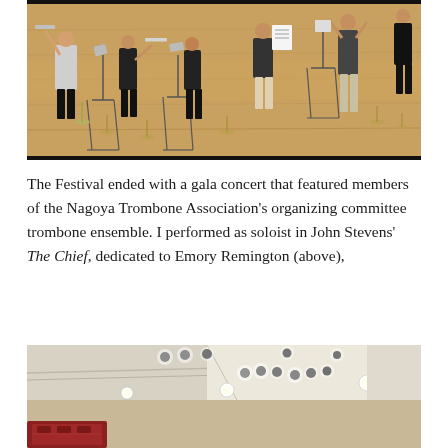[Figure (photo): Orchestra musicians performing on a wooden stage, viewed from above. Several musicians stand at music stands with instruments, and a conductor is visible on the right side holding sheet music.]
The Festival ended with a gala concert that featured members of the Nagoya Trombone Association's organizing committee trombone ensemble. I performed as soloist in John Stevens' The Chief, dedicated to Emory Remington (above),
[Figure (photo): Interior of a concert hall or museum space with recessed ceiling lights, white walls and ceiling, and what appears to be exhibits or instruments visible at the bottom of the frame.]